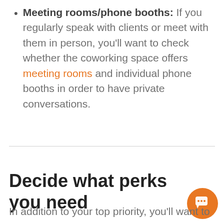Meeting rooms/phone booths: If you regularly speak with clients or meet with them in person, you'll want to check whether the coworking space offers meeting rooms and individual phone booths in order to have private conversations.
Decide what perks you need
In addition to your top priority, you'll want to